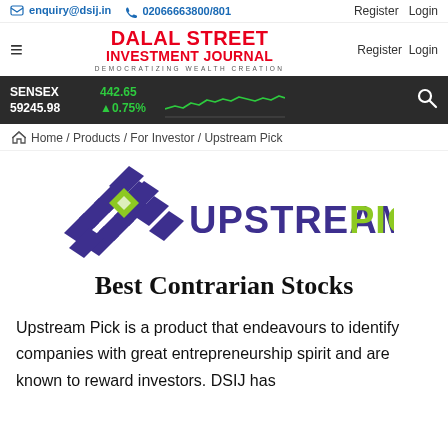enquiry@dsij.in  02066663800/801  Register  Login
[Figure (logo): Dalal Street Investment Journal logo - red bold text with tagline DEMOCRATIZING WEALTH CREATION]
[Figure (infographic): SENSEX ticker bar showing 59245.98, change +442.65, +0.75% with green line chart and search icon]
Home / Products / For Investor / Upstream Pick
[Figure (logo): Upstream Pick logo - purple geometric angular bird/arrow shape with green diamond, text UPSTREAM PICK in purple and green bold letters]
Best Contrarian Stocks
Upstream Pick is a product that endeavours to identify companies with great entrepreneurship spirit and are known to reward investors. DSIJ has